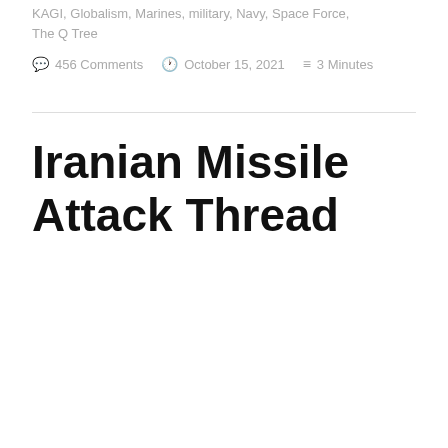KAGI, Globalism, Marines, military, Navy, Space Force, The Q Tree
456 Comments   October 15, 2021   3 Minutes
Iranian Missile Attack Thread